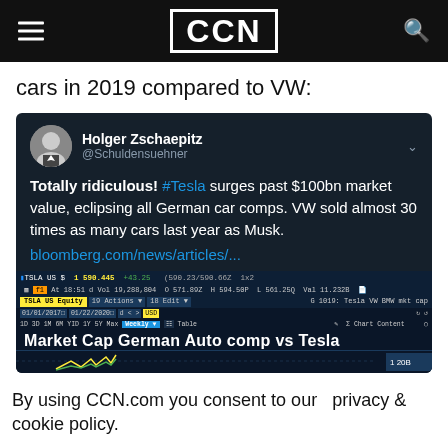CCN
cars in 2019 compared to VW:
[Figure (screenshot): Embedded tweet from Holger Zschaepitz (@Schuldensuehner) reading: 'Totally ridiculous! #Tesla surges past $100bn market value, eclipsing all German car comps. VW sold almost 30 times as many cars last year as Musk. bloomberg.com/news/articles/...' with embedded Bloomberg terminal chart showing 'Market Cap German Auto comp vs Tesla' for TSLA US Equity.]
By using CCN.com you consent to our  privacy & cookie policy.
Continue